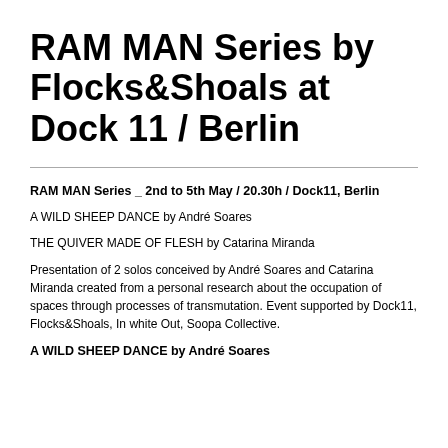RAM MAN Series by Flocks&Shoals at Dock 11 / Berlin
RAM MAN Series _ 2nd to 5th May / 20.30h / Dock11, Berlin
A WILD SHEEP DANCE by André Soares
THE QUIVER MADE OF FLESH by Catarina Miranda
Presentation of 2 solos conceived by André Soares and Catarina Miranda created from a personal research about the occupation of spaces through processes of transmutation. Event supported by Dock11, Flocks&Shoals, In white Out, Soopa Collective.
A WILD SHEEP DANCE by André Soares